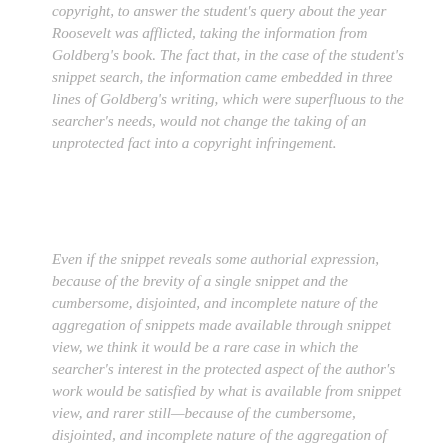copyright, to answer the student's query about the year Roosevelt was afflicted, taking the information from Goldberg's book. The fact that, in the case of the student's snippet search, the information came embedded in three lines of Goldberg's writing, which were superfluous to the searcher's needs, would not change the taking of an unprotected fact into a copyright infringement.
Even if the snippet reveals some authorial expression, because of the brevity of a single snippet and the cumbersome, disjointed, and incomplete nature of the aggregation of snippets made available through snippet view, we think it would be a rare case in which the searcher's interest in the protected aspect of the author's work would be satisfied by what is available from snippet view, and rarer still—because of the cumbersome, disjointed, and incomplete nature of the aggregation of snippets made available through snippet view—that snippet view could